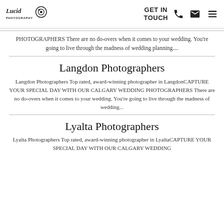Lucid Photography | GET IN TOUCH
PHOTOGRAPHERS There are no do-overs when it comes to your wedding. You're going to live through the madness of wedding planning....
Langdon Photographers
Langdon Photographers Top rated, award-winning photographer in LangdonCAPTURE YOUR SPECIAL DAY WITH OUR CALGARY WEDDING PHOTOGRAPHERS There are no do-overs when it comes to your wedding. You're going to live through the madness of wedding...
Lyalta Photographers
Lyalta Photographers Top rated, award-winning photographer in LyaltaCAPTURE YOUR SPECIAL DAY WITH OUR CALGARY WEDDING